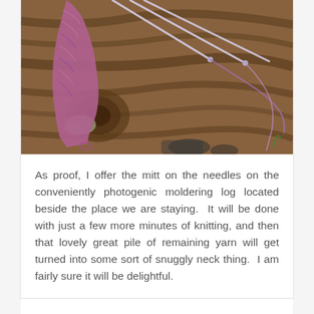[Figure (photo): A partially knitted purple/pink mitt resting on a weathered, photogenic moldering log with knitting needles and yarn visible.]
As proof, I offer the mitt on the needles on the conveniently photogenic moldering log located beside the place we are staying.  It will be done with just a few more minutes of knitting, and then that lovely great pile of remaining yarn will get turned into some sort of snuggly neck thing.  I am fairly sure it will be delightful.